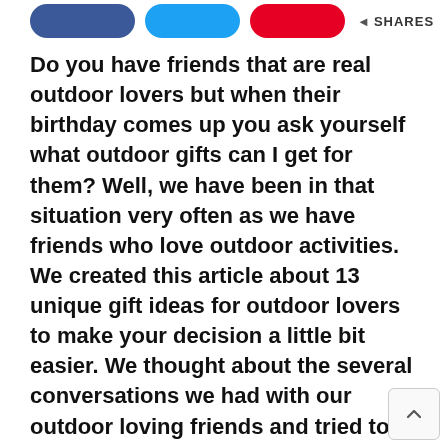[Figure (other): Social share buttons: Facebook (blue rounded), Twitter (light blue rounded), Pinterest (red rounded), and a share icon with SHARES label]
Do you have friends that are real outdoor lovers but when their birthday comes up you ask yourself what outdoor gifts can I get for them? Well, we have been in that situation very often as we have friends who love outdoor activities. We created this article about 13 unique gift ideas for outdoor lovers to make your decision a little bit easier. We thought about the several conversations we had with our outdoor loving friends and tried to remind ourselves about all the amazing products we talked about. We hope this article will give you some outdoor gift ideas and find a nice pick.